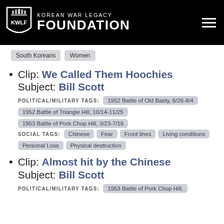KOREAN WAR LEGACY FOUNDATION
Clip: We Called Them Hoochies
Subject: Bill Scott
POLITICAL/MILITARY TAGS: 1952 Battle of Old Baldy, 6/26-8/4  1952 Battle of Triangle Hill, 10/14-11/25  1953 Battle of Pork Chop Hill, 3/23-7/16
SOCIAL TAGS: Chinese  Fear  Front lines  Living conditions  Personal Loss  Physical destruction
Clip: Almost hit by the Chinese
Subject: Bill Scott
POLITICAL/MILITARY TAGS: 1953 Battle of Pork Chop Hill,